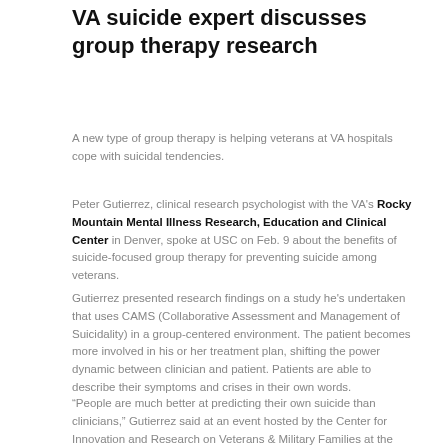VA suicide expert discusses group therapy research
A new type of group therapy is helping veterans at VA hospitals cope with suicidal tendencies.
Peter Gutierrez, clinical research psychologist with the VA's Rocky Mountain Mental Illness Research, Education and Clinical Center in Denver, spoke at USC on Feb. 9 about the benefits of suicide-focused group therapy for preventing suicide among veterans.
Gutierrez presented research findings on a study he's undertaken that uses CAMS (Collaborative Assessment and Management of Suicidality) in a group-centered environment. The patient becomes more involved in his or her treatment plan, shifting the power dynamic between clinician and patient. Patients are able to describe their symptoms and crises in their own words.
“People are much better at predicting their own suicide than clinicians,” Gutierrez said at an event hosted by the Center for Innovation and Research on Veterans & Military Families at the USC Suzanne Dworak-Peck School of Social Work.